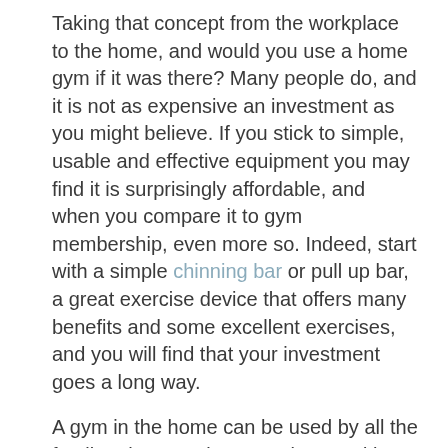Taking that concept from the workplace to the home, and would you use a home gym if it was there? Many people do, and it is not as expensive an investment as you might believe. If you stick to simple, usable and effective equipment you may find it is surprisingly affordable, and when you compare it to gym membership, even more so. Indeed, start with a simple chinning bar or pull up bar, a great exercise device that offers many benefits and some excellent exercises, and you will find that your investment goes a long way.
A gym in the home can be used by all the family, whenever is convenient, and is also an excellent way of getting children used to the concept of staying fit. You can help them devise a beginner's routine and supervise them, and it is a great way of spending quality time as a family. They will soon feel the benefits of knowing the importance of exercise, and so will you! If you're looking for ways to keep them interested, you can install music streaming platforms like Pandora or similar others that can help you stream the kind of music you would need to feel the pump. Unlike a public gym